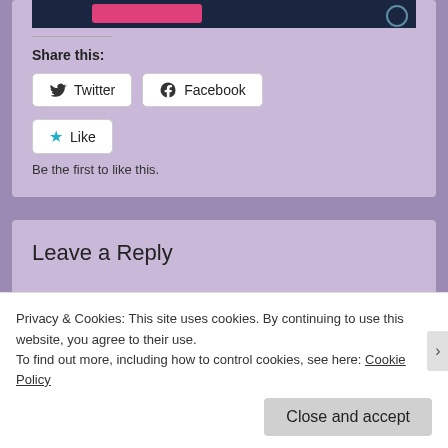[Figure (screenshot): Top portion of a dark navy website banner with pink button and logo]
Share this:
[Figure (other): Twitter share button with bird icon]
[Figure (other): Facebook share button with F icon]
[Figure (other): Like button with star icon]
Be the first to like this.
Leave a Reply
Your email address will not be published. Required fields are marked *
Privacy & Cookies: This site uses cookies. By continuing to use this website, you agree to their use.
To find out more, including how to control cookies, see here: Cookie Policy
Close and accept